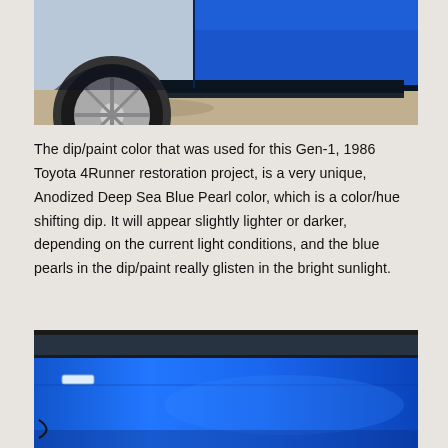[Figure (photo): Close-up photo of the lower side of a blue Toyota 4Runner showing the tire, wheel rim, running board, and blue body panel against a concrete surface.]
The dip/paint color that was used for this Gen-1, 1986 Toyota 4Runner restoration project, is a very unique, Anodized Deep Sea Blue Pearl color, which is a color/hue shifting dip. It will appear slightly lighter or darker, depending on the current light conditions, and the blue pearls in the dip/paint really glisten in the bright sunlight.
[Figure (photo): Close-up photo of the blue Toyota 4Runner door panel showing the door handle and the Anodized Deep Sea Blue Pearl paint/dip color with the roof visible at the top.]